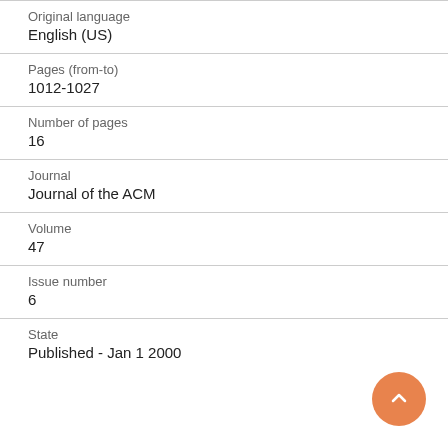Original language
English (US)
Pages (from-to)
1012-1027
Number of pages
16
Journal
Journal of the ACM
Volume
47
Issue number
6
State
Published - Jan 1 2000